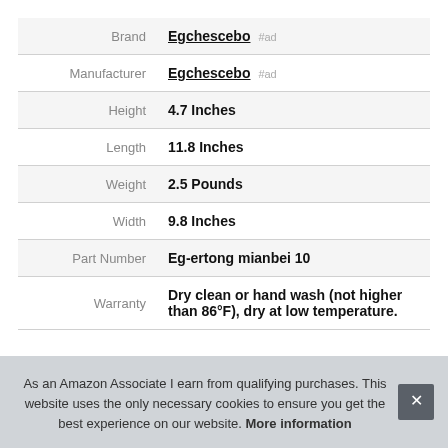| Attribute | Value |
| --- | --- |
| Brand | Egchescebo #ad |
| Manufacturer | Egchescebo #ad |
| Height | 4.7 Inches |
| Length | 11.8 Inches |
| Weight | 2.5 Pounds |
| Width | 9.8 Inches |
| Part Number | Eg-ertong mianbei 10 |
| Warranty | Dry clean or hand wash (not higher than 86°F), dry at low temperature. |
As an Amazon Associate I earn from qualifying purchases. This website uses the only necessary cookies to ensure you get the best experience on our website. More information